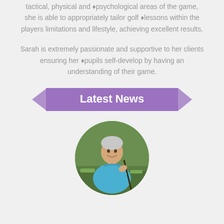tactical, physical and ♥psychological areas of the game, she is able to appropriately tailor golf ♥lessons within the players limitations and lifestyle, achieving excellent results.
Sarah is extremely passionate and supportive to her clients ensuring her ♥pupils self-develop by having an understanding of their game.
Latest News
[Figure (photo): Circular photo of a person wearing a blue hoodie, smiling and holding a golf club on a grass field.]